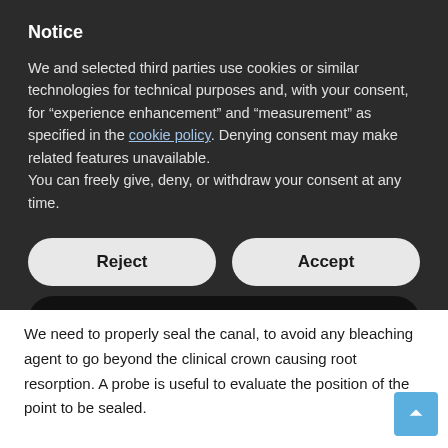Notice
We and selected third parties use cookies or similar technologies for technical purposes and, with your consent, for “experience enhancement” and “measurement” as specified in the cookie policy. Denying consent may make related features unavailable.
You can freely give, deny, or withdraw your consent at any time.
Reject
Accept
Learn more and customize
We need to properly seal the canal, to avoid any bleaching agent to go beyond the clinical crown causing root resorption. A probe is useful to evaluate the position of the point to be sealed.